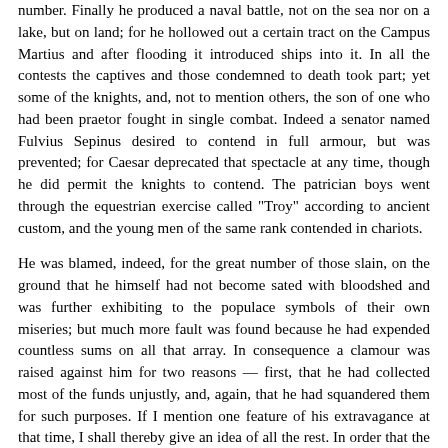number. Finally he produced a naval battle, not on the sea nor on a lake, but on land; for he hollowed out a certain tract on the Campus Martius and after flooding it introduced ships into it. In all the contests the captives and those condemned to death took part; yet some of the knights, and, not to mention others, the son of one who had been praetor fought in single combat. Indeed a senator named Fulvius Sepinus desired to contend in full armour, but was prevented; for Caesar deprecated that spectacle at any time, though he did permit the knights to contend. The patrician boys went through the equestrian exercise called "Troy" according to ancient custom, and the young men of the same rank contended in chariots.
He was blamed, indeed, for the great number of those slain, on the ground that he himself had not become sated with bloodshed and was further exhibiting to the populace symbols of their own miseries; but much more fault was found because he had expended countless sums on all that array. In consequence a clamour was raised against him for two reasons — first, that he had collected most of the funds unjustly, and, again, that he had squandered them for such purposes. If I mention one feature of his extravagance at that time, I shall thereby give an idea of all the rest. In order that the sun might not annoy any of the spectators, he had curtains stretched over them made of silk, according to some accounts. Now this fabric is a device of barbarian luxury, and has come down from them even to us to gratify the fastidious taste of fine ladies. The citizens perforce held their peace at such acts, but the